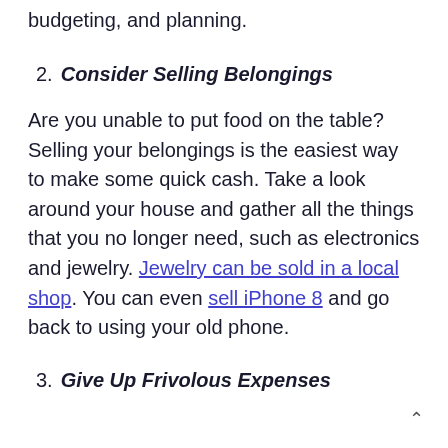budgeting, and planning.
2. Consider Selling Belongings
Are you unable to put food on the table? Selling your belongings is the easiest way to make some quick cash. Take a look around your house and gather all the things that you no longer need, such as electronics and jewelry. Jewelry can be sold in a local shop. You can even sell iPhone 8 and go back to using your old phone.
3. Give Up Frivolous Expenses